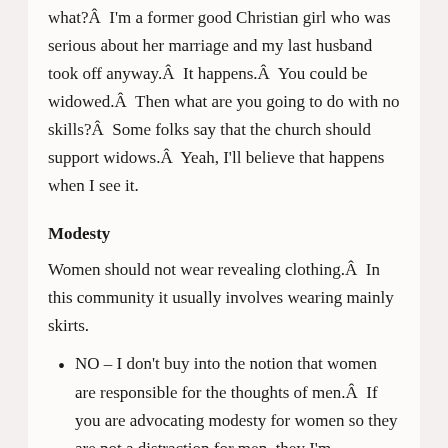what?Â  I'm a former good Christian girl who was serious about her marriage and my last husband took off anyway.Â  It happens.Â  You could be widowed.Â  Then what are you going to do with no skills?Â  Some folks say that the church should support widows.Â  Yeah, I'll believe that happens when I see it.
Modesty
Women should not wear revealing clothing.Â  In this community it usually involves wearing mainly skirts.
NO – I don't buy into the notion that women are responsible for the thoughts of men.Â  If you are advocating modesty for women so they are not a distraction for men, they I'm